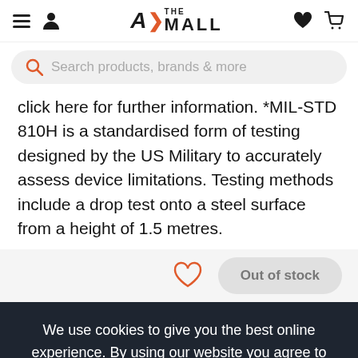A> THE MALL [logo with hamburger, user, heart, cart icons]
Search products, brands & more
click here for further information. *MIL-STD 810H is a standardised form of testing designed by the US Military to accurately assess device limitations. Testing methods include a drop test onto a steel surface from a height of 1.5 metres.
Out of stock
We use cookies to give you the best online experience. By using our website you agree to our use of cookies in accordance with our privacy policy
Continue